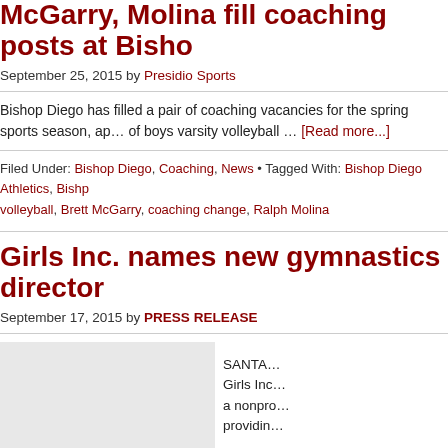McGarry, Molina fill coaching posts at Bish…
September 25, 2015 by Presidio Sports
Bishop Diego has filled a pair of coaching vacancies for the spring sports season, ap… of boys varsity volleyball … [Read more...]
Filed Under: Bishop Diego, Coaching, News • Tagged With: Bishop Diego Athletics, Bishp… volleyball, Brett McGarry, coaching change, Ralph Molina
Girls Inc. names new gymnastics director
September 17, 2015 by PRESS RELEASE
SANTA … Girls Inc… a nonpro… providin…
[Figure (photo): Gray placeholder image for Girls Inc. article]